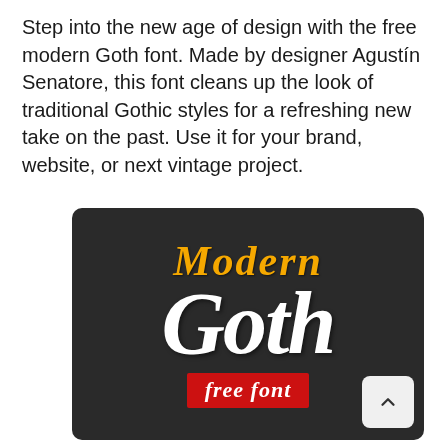Step into the new age of design with the free modern Goth font. Made by designer Agustín Senatore, this font cleans up the look of traditional Gothic styles for a refreshing new take on the past. Use it for your brand, website, or next vintage project.
[Figure (illustration): Dark background promotional image for 'Modern Goth' free font. Shows 'Modern' in gold gothic script on top, 'Goth' in large white gothic lettering below, and a red banner reading 'free font' at the bottom. A white rounded scroll-up button appears in the bottom-right corner.]